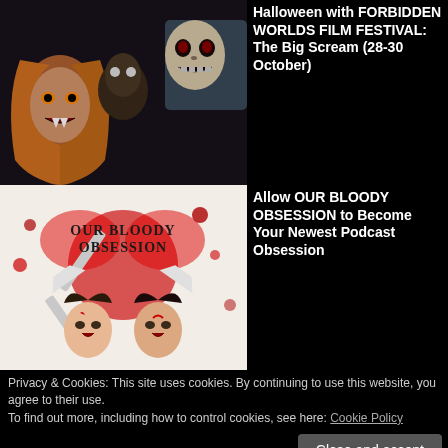[Figure (illustration): Horror illustration showing vampires and a masked figure on black background]
Halloween with FORBIDDEN WORLDS FILM FESTIVAL: The Big Scream (28-30 October)
[Figure (illustration): Our Bloody Obsession podcast logo with two bloody women and crossed knives on white background]
Allow OUR BLOODY OBSESSION to Become Your Newest Podcast Obsession
Privacy & Cookies: This site uses cookies. By continuing to use this website, you agree to their use.
To find out more, including how to control cookies, see here: Cookie Policy
Close and accept
| REPRESSION OUTSIDER | the